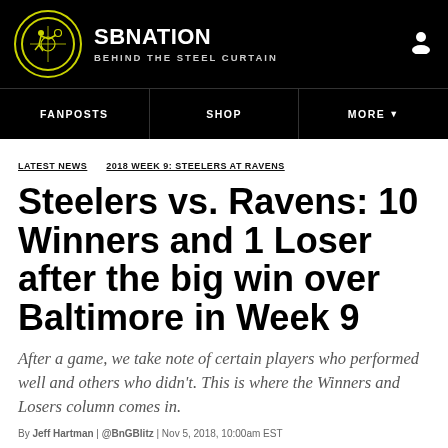SBNATION · BEHIND THE STEEL CURTAIN
FANPOSTS  SHOP  MORE
LATEST NEWS  2018 WEEK 9: STEELERS AT RAVENS
Steelers vs. Ravens: 10 Winners and 1 Loser after the big win over Baltimore in Week 9
After a game, we take note of certain players who performed well and others who didn't. This is where the Winners and Losers column comes in.
By Jeff Hartman | @BnGBlitz | Nov 5, 2018, 10:00am EST